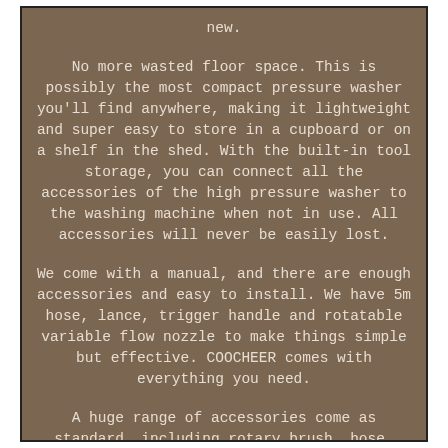new.
No more wasted floor space. This is possibly the most compact pressure washer you'll find anywhere, making it lightweight and super easy to store in a cupboard or on a shelf in the shed. With the built-in tool storage, you can connect all the accessories of the high pressure washer to the washing machine when not in use. All accessories will never be easily lost.
We come with a manual, and there are enough accessories and easy to install. We have 5m hose, lance, trigger handle and rotatable variable flow nozzle to make things simple but effective. COOCHEER comes with everything you need.
A huge range of accessories come as standard, including rotary brush, hose, filter, adjustable nozzle, and more. TOPZONE Professional High